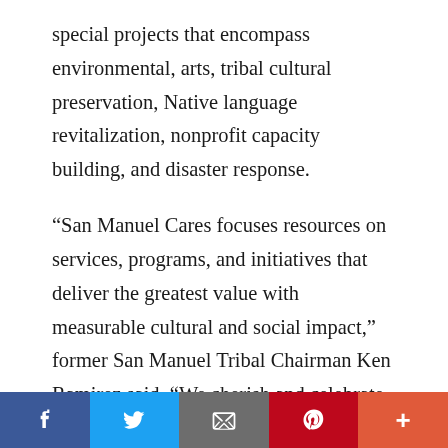special projects that encompass environmental, arts, tribal cultural preservation, Native language revitalization, nonprofit capacity building, and disaster response.
“San Manuel Cares focuses resources on services, programs, and initiatives that deliver the greatest value with measurable cultural and social impact,” former San Manuel Tribal Chairman Ken Ramirez said. “We cherish and celebrate our spiritual, cultural, and tribal traditions, support sustainable environmental practices, and advocate for resilient, healthy communities.”
[Figure (other): Social sharing bar with five buttons: Facebook (dark blue), Twitter (light blue), Email/envelope (gray), Pinterest (red), and More/plus (orange-red)]